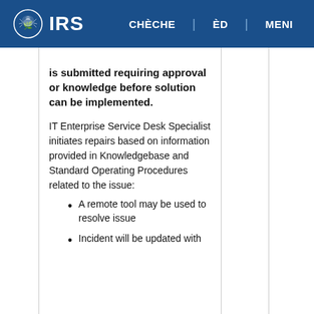IRS | CHÈCHE | ÈD | MENI
is submitted requiring approval or knowledge before solution can be implemented.
IT Enterprise Service Desk Specialist initiates repairs based on information provided in Knowledgebase and Standard Operating Procedures related to the issue:
A remote tool may be used to resolve issue
Incident will be updated with